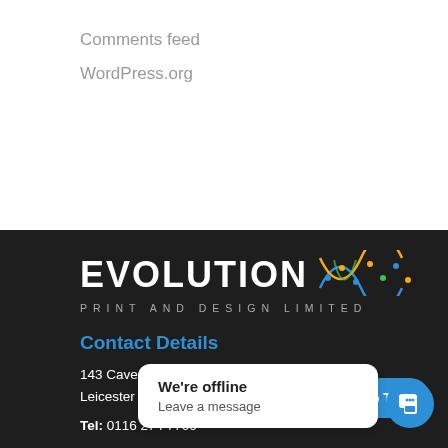Comments feed
WordPress.org
[Figure (logo): Evolution Print and Design Limited logo with DNA double helix graphic in blue, orange, yellow and green]
Contact Details
143 Cavendish Road, Leicester LE2 7PJ
Tel: 0116 274 7700
Email: sales@evolutionpds.co.uk
Office Hours: 9am
↑ Back To Top
We're offline
Leave a message